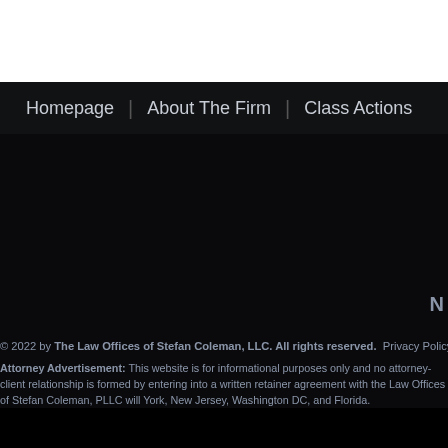Homepage | About The Firm | Class Actions
© 2022 by The Law Offices of Stefan Coleman, LLC. All rights reserved.  Privacy Policy
Attorney Advertisement: This website is for informational purposes only and no attorney-client relationship is formed by entering into a written retainer agreement with the Law Offices of Stefan Coleman, PLLC will be licensed to practice in New York, New Jersey, Washington DC, and Florida.